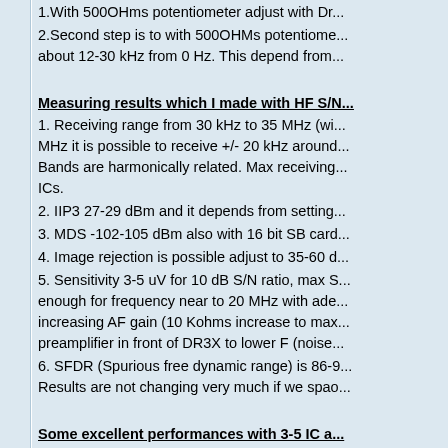1.With 500OHms potentiometer adjust with Dr...
2.Second step is to with 500OHMs potentiome... about 12-30 kHz from 0 Hz. This depend from...
Measuring results which I made with HF S/N...
1. Receiving range from 30 kHz to 35 MHz (wi... MHz it is possible to receive +/- 20 kHz around... Bands are harmonically related. Max receiving... ICs.
2. IIP3 27-29 dBm and it depends from setting...
3. MDS -102-105 dBm also with 16 bit SB card...
4. Image rejection is possible adjust to 35-60 d...
5. Sensitivity 3-5 uV for 10 dB S/N ratio, max S... enough for frequency near to 20 MHz with ade... increasing AF gain (10 Kohms increase to max... preamplifier in front of DR3X to lower F (noise...
6. SFDR (Spurious free dynamic range) is 86-9... Results are not changing very much if we spao...
Some excellent performances with 3-5 IC a...
1. First and very big disadvantage is 4 times hi...
2. Image rejection is changing through receivin... frequency
3. Harmonically bands are not always good ch...